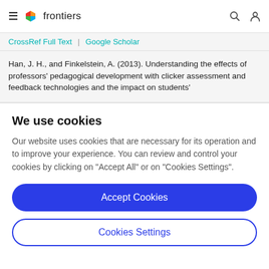frontiers
CrossRef Full Text | Google Scholar
Han, J. H., and Finkelstein, A. (2013). Understanding the effects of professors' pedagogical development with clicker assessment and feedback technologies and the impact on students'
We use cookies
Our website uses cookies that are necessary for its operation and to improve your experience. You can review and control your cookies by clicking on "Accept All" or on "Cookies Settings".
Accept Cookies
Cookies Settings